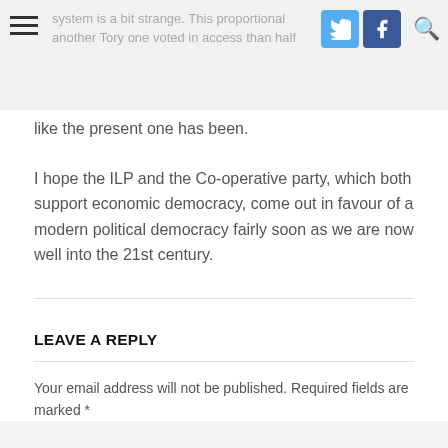system is a bit strange. This proportional vote another Tory one voted in access than half the votes like the present one has been.
like the present one has been.
I hope the ILP and the Co-operative party, which both support economic democracy, come out in favour of a modern political democracy fairly soon as we are now well into the 21st century.
LEAVE A REPLY
Your email address will not be published. Required fields are marked *